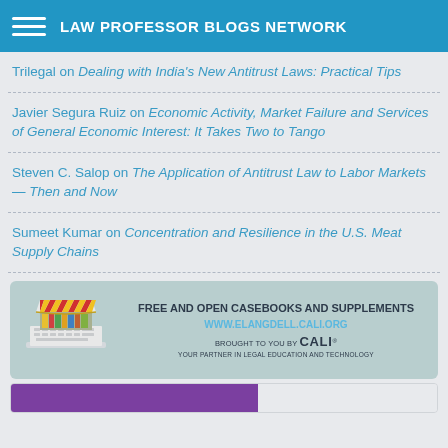LAW PROFESSOR BLOGS NETWORK
Trilegal on Dealing with India's New Antitrust Laws: Practical Tips
Javier Segura Ruiz on Economic Activity, Market Failure and Services of General Economic Interest: It Takes Two to Tango
Steven C. Salop on The Application of Antitrust Law to Labor Markets — Then and Now
Sumeet Kumar on Concentration and Resilience in the U.S. Meat Supply Chains
[Figure (infographic): CALI advertisement: Free and Open Casebooks and Supplements, www.elangdell.cali.org, Brought to you by CALI, Your Partner in Legal Education and Technology. Features a shop/bookstore graphic on a laptop.]
[Figure (infographic): Partial advertisement with purple background visible at bottom of page.]